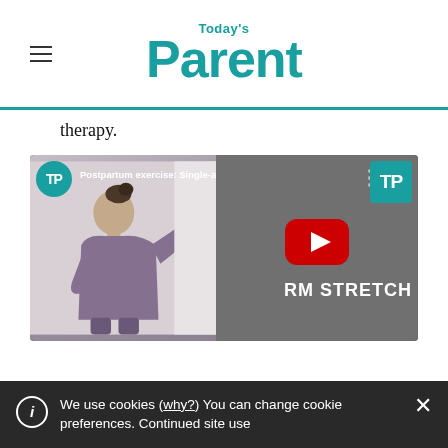Today's Parent
therapy.
[Figure (screenshot): YouTube video thumbnail for 'Postpartum exercise: Single-ar... RM STRETCH' on the Today's Parent channel. Left half shows a woman in a grey long-sleeve athletic top doing a wall stretch. Right half shows grey background with YouTube play button and text 'RM STRETCH' in white capital letters. TP logo badge visible top-left and top-right.]
We use cookies (why?) You can change cookie preferences. Continued site use